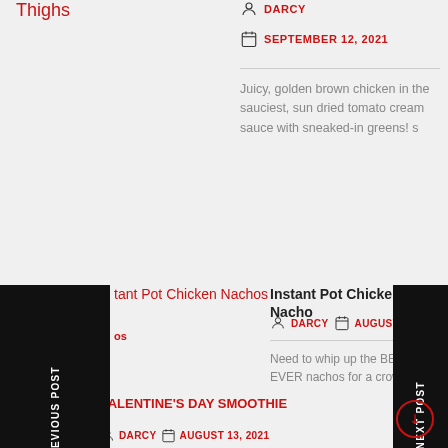Thighs
DARCY
SEPTEMBER 12, 2021
Juicy, golden brown chicken in the sauciest, sun dried tomato cream sauce with sneaked-in greens!
PREVIOUS POST
NEXT POST
Instant Pot Chicken Nachos
DARCY
AUGUST 29, 20...
Need to whip up the BEST EVER nachos for a crowd with minim effort? THIS IS IT! Fully loaded...
VALENTINE'S DAY SMOOTHIE
[Figure (photo): Image placeholder for VALENTINE'S DAY SMOOTHIE]
VALENTINE'S DAY SMOOTHIE
DARCY
AUGUST 13, 2021